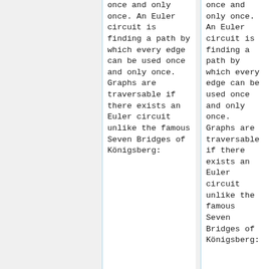once and only once. An Euler circuit is finding a path by which every edge can be used once and only once. Graphs are traversable if there exists an Euler circuit unlike the famous Seven Bridges of Königsberg:
once and only once. An Euler circuit is finding a path by which every edge can be used once and only once. Graphs are traversable if there exists an Euler circuit unlike the famous Seven Bridges of Königsberg: